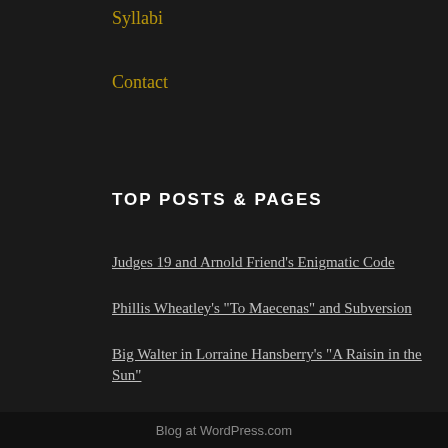Syllabi
Contact
TOP POSTS & PAGES
Judges 19 and Arnold Friend's Enigmatic Code
Phillis Wheatley's "To Maecenas" and Subversion
Big Walter in Lorraine Hansberry's "A Raisin in the Sun"
The Cyclic Nature of Louise Erdrich's "The Red Convertible"
The Narratives of History in “Killadelphia”: Part V
Blog at WordPress.com